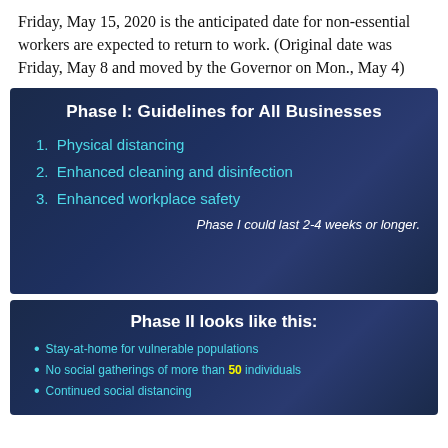Friday, May 15, 2020 is the anticipated date for non-essential workers are expected to return to work. (Original date was Friday, May 8 and moved by the Governor on Mon., May 4)
[Figure (screenshot): Dark blue slide titled 'Phase I: Guidelines for All Businesses' with three cyan-colored numbered items: 1. Physical distancing, 2. Enhanced cleaning and disinfection, 3. Enhanced workplace safety, and a footer note 'Phase I could last 2-4 weeks or longer.']
[Figure (screenshot): Dark blue slide titled 'Phase II looks like this:' with three bullet points in cyan: Stay-at-home for vulnerable populations, No social gatherings of more than 50 individuals (50 in yellow), Continued social distancing.]